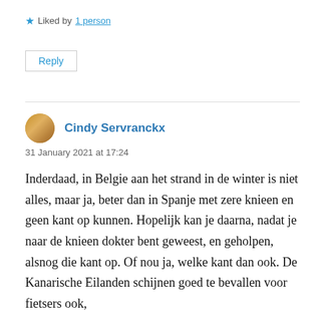★ Liked by 1 person
Reply
Cindy Servranckx
31 January 2021 at 17:24
Inderdaad, in Belgie aan het strand in de winter is niet alles, maar ja, beter dan in Spanje met zere knieen en geen kant op kunnen. Hopelijk kan je daarna, nadat je naar de knieen dokter bent geweest, en geholpen, alsnog die kant op. Of nou ja, welke kant dan ook. De Kanarische Eilanden schijnen goed te bevallen voor fietsers ook,